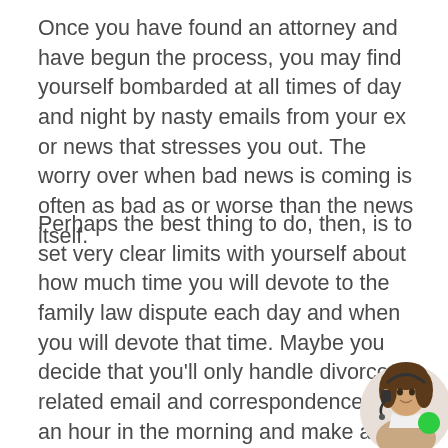Once you have found an attorney and have begun the process, you may find yourself bombarded at all times of day and night by nasty emails from your ex or news that stresses you out. The worry over when bad news is coming is often as bad as or worse than the news itself.
Perhaps the best thing to do, then, is to set very clear limits with yourself about how much time you will devote to the family law dispute each day and when you will devote that time. Maybe you decide that you'll only handle divorce-related email and correspondence for an hour in the morning and make any phone calls for an hour in the afternoon. Outside of that time, you won't allow yourself to focus on the divorce or spend time worrying about the "what-ifs." The only cav... this rule would be responding to time-sensitive messages or inquiries from your attorney.
[Figure (photo): Customer service representative avatar photo of a woman with a headset, positioned in the bottom right corner with a green online indicator dot.]